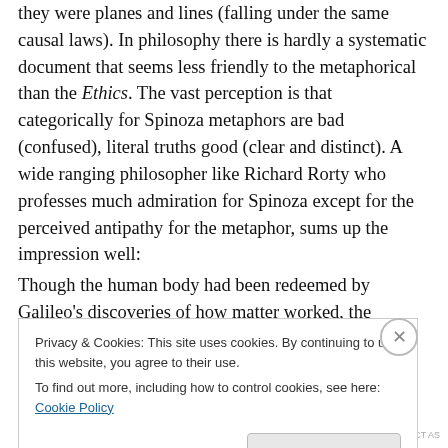they were planes and lines (falling under the same causal laws). In philosophy there is hardly a systematic document that seems less friendly to the metaphorical than the Ethics. The vast perception is that categorically for Spinoza metaphors are bad (confused), literal truths good (clear and distinct). A wide ranging philosopher like Richard Rorty who professes much admiration for Spinoza except for the perceived antipathy for the metaphor, sums up the impression well:
Though the human body had been redeemed by Galileo's discoveries of how matter worked, the imagination had
Privacy & Cookies: This site uses cookies. By continuing to use this website, you agree to their use.
To find out more, including how to control cookies, see here: Cookie Policy
Close and accept